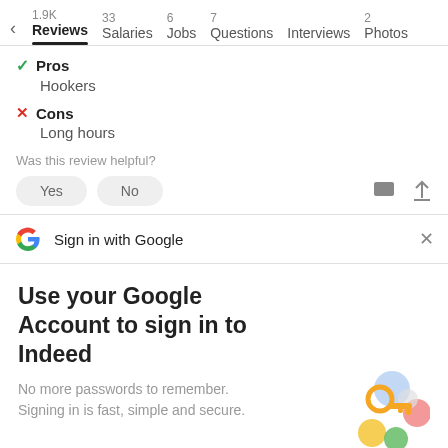1.9K Reviews  33 Salaries  6 Jobs  7 Questions  Interviews  2 Photos
Pros
Hookers
Cons
Long hours
Was this review helpful?
[Figure (screenshot): Sign in with Google bar with Google G logo and close X button]
Use your Google Account to sign in to Indeed
No more passwords to remember.
Signing in is fast, simple and secure.
[Figure (illustration): Key and colorful circles illustration for Google sign-in]
Continue